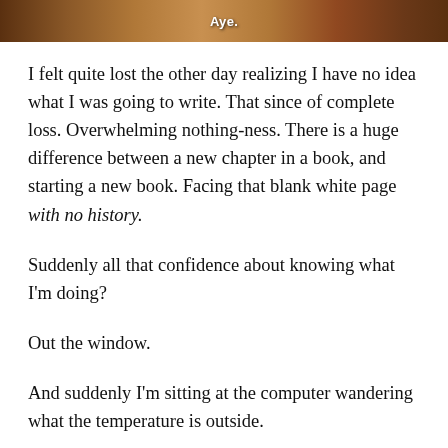[Figure (photo): Partial photo of a furry animal (likely a bear or dog) with the word 'Aye.' overlaid in white text on the image.]
I felt quite lost the other day realizing I have no idea what I was going to write. That since of complete loss. Overwhelming nothing-ness. There is a huge difference between a new chapter in a book, and starting a new book. Facing that blank white page with no history.
Suddenly all that confidence about knowing what I'm doing?
Out the window.
And suddenly I'm sitting at the computer wandering what the temperature is outside.